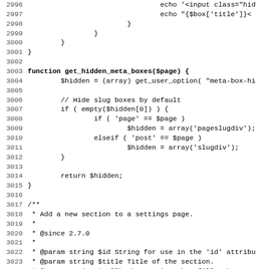[Figure (screenshot): Source code listing showing PHP functions: partial get_hidden_meta_boxes function and beginning of add_settings_section function, with line numbers 2996-3027, displayed in monospace font on white background.]